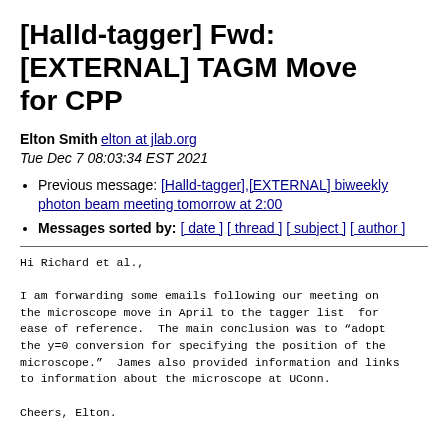[Halld-tagger] Fwd: [EXTERNAL] TAGM Move for CPP
Elton Smith elton at jlab.org
Tue Dec 7 08:03:34 EST 2021
Previous message: [Halld-tagger],[EXTERNAL] biweekly photon beam meeting tomorrow at 2:00
Messages sorted by: [ date ] [ thread ] [ subject ] [ author ]
Hi Richard et al.,

I am forwarding some emails following our meeting on
the microscope move in April to the tagger list  for
ease of reference.  The main conclusion was to “adopt
the y=0 conversion for specifying the position of the
microscope.”  James also provided information and links
to information about the microscope at UConn.

Cheers, Elton.